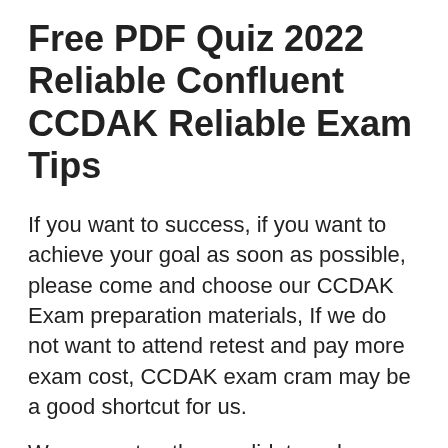Free PDF Quiz 2022 Reliable Confluent CCDAK Reliable Exam Tips
If you want to success, if you want to achieve your goal as soon as possible, please come and choose our CCDAK Exam preparation materials, If we do not want to attend retest and pay more exam cost, CCDAK exam cram may be a good shortcut for us.
We guarantee the candidates who bought our CCDAK training braindumps can get the most authoritative and reliable dumps to help you pass the